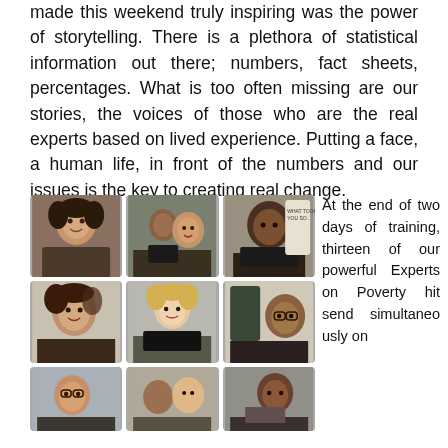made this weekend truly inspiring was the power of storytelling. There is a plethora of statistical information out there; numbers, fact sheets, percentages. What is too often missing are our stories, the voices of those who are the real experts based on lived experience. Putting a face, a human life, in front of the numbers and our issues is the key to creating real change.
[Figure (photo): Grid of 9 photographs showing people attending a training workshop, seated at tables with laptops, engaged in discussion.]
At the end of two days of training, thirteen of our powerful Experts on Poverty hit send simultaneo usly on